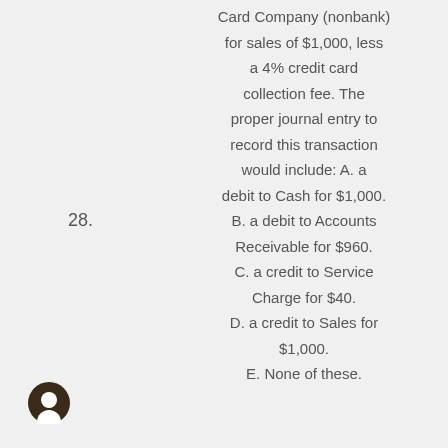28.
Card Company (nonbank) for sales of $1,000, less a 4% credit card collection fee. The proper journal entry to record this transaction would include: A. a debit to Cash for $1,000. B. a debit to Accounts Receivable for $960. C. a credit to Service Charge for $40. D. a credit to Sales for $1,000. E. None of these.